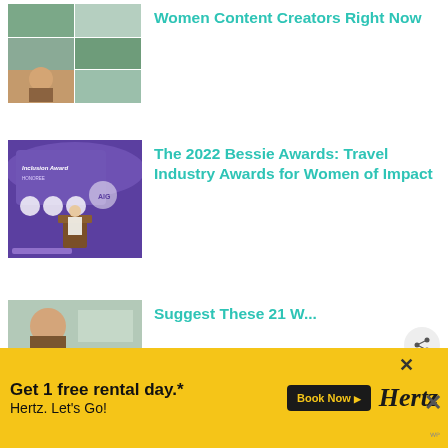[Figure (photo): Mosaic thumbnail of women travel content creators]
Women Content Creators Right Now
[Figure (photo): Purple Inclusion Award stage at the 2022 Bessie Awards ceremony]
The 2022 Bessie Awards: Travel Industry Awards for Women of Impact
[Figure (photo): Partial thumbnail of a third article]
Privacy & Cookies: This site uses cookies. By continuing to use this website, you agree to their use.
To find out more, including how to control cookies, see here:
Cookie Policy
[Figure (advertisement): Hertz advertisement: Get 1 free rental day.* Hertz. Let's Go! Book Now button]